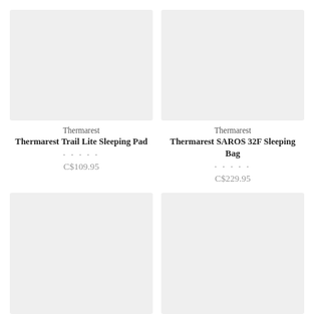[Figure (photo): Product image placeholder for Thermarest Trail Lite Sleeping Pad - light gray rectangle]
Thermarest
Thermarest Trail Lite Sleeping Pad
C$109.95
[Figure (photo): Product image placeholder for Thermarest SAROS 32F Sleeping Bag - light gray rectangle]
Thermarest
Thermarest SAROS 32F Sleeping Bag
C$229.95
[Figure (photo): Product image placeholder bottom left - light gray rectangle]
[Figure (photo): Product image placeholder bottom right - light gray rectangle]